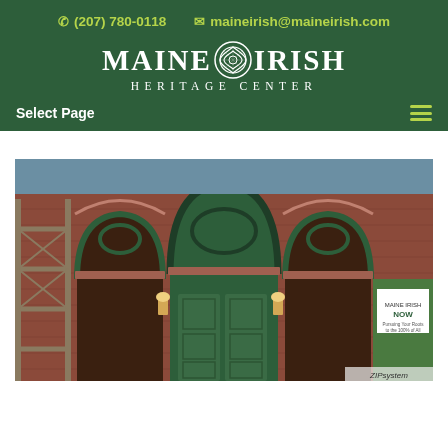(207) 780-0118   maineirish@maineirish.com
[Figure (logo): Maine Irish Heritage Center logo — white text with Celtic knot emblem on dark green background]
Select Page
[Figure (photo): Exterior photo of Maine Irish Heritage Center building showing red brick Gothic arched entrance with green wooden doors, decorative tracery windows, scaffolding on the left side, and a ZIPsystem sign on the right]